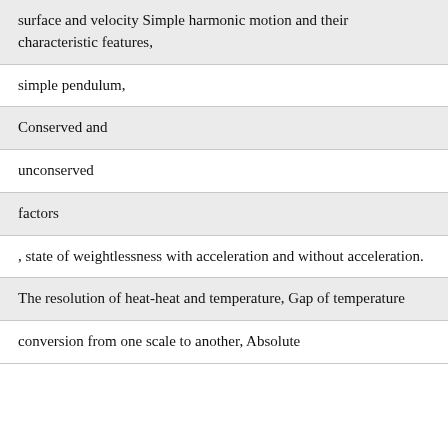surface and velocity Simple harmonic motion and their characteristic features,
simple pendulum,
Conserved and
unconserved
factors
, state of weightlessness with acceleration and without acceleration.
The resolution of heat-heat and temperature, Gap of temperature
conversion from one scale to another, Absolute